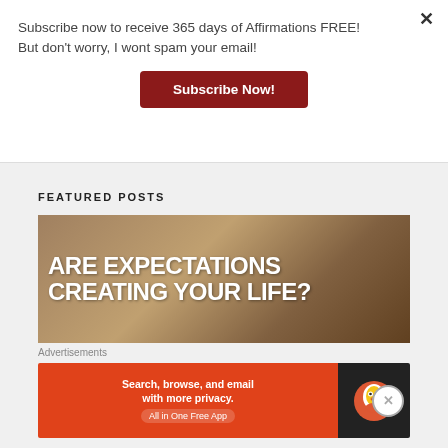Subscribe now to receive 365 days of Affirmations FREE!
But don't worry, I wont spam your email!
Subscribe Now!
FEATURED POSTS
[Figure (photo): Image with bold white graffiti text reading 'ARE EXPECTATIONS CREATING YOUR LIFE?' on a rough stone/concrete background]
Advertisements
[Figure (infographic): DuckDuckGo advertisement banner: orange left side with text 'Search, browse, and email with more privacy. All in One Free App', black right side with DuckDuckGo duck logo]